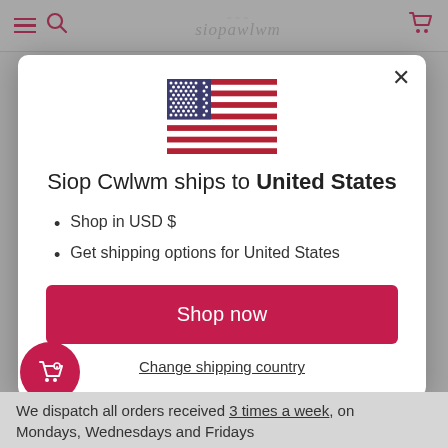siopawlwm
[Figure (screenshot): Modal dialog on e-commerce site showing US flag, shipping information for United States, Shop now button, and Change shipping country link]
Siop Cwlwm ships to United States
Shop in USD $
Get shipping options for United States
Shop now
Change shipping country
We dispatch all orders received 3 times a week, on Mondays, Wednesdays and Fridays